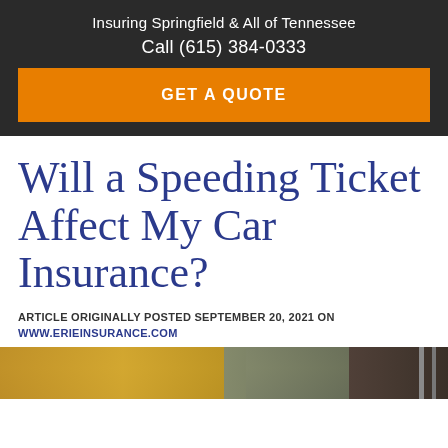Insuring Springfield & All of Tennessee
Call (615) 384-0333
GET A QUOTE
Will a Speeding Ticket Affect My Car Insurance?
ARTICLE ORIGINALLY POSTED SEPTEMBER 20, 2021 ON WWW.ERIEINSURANCE.COM
[Figure (photo): Outdoor autumn scene with trees and road sign poles visible on right side]